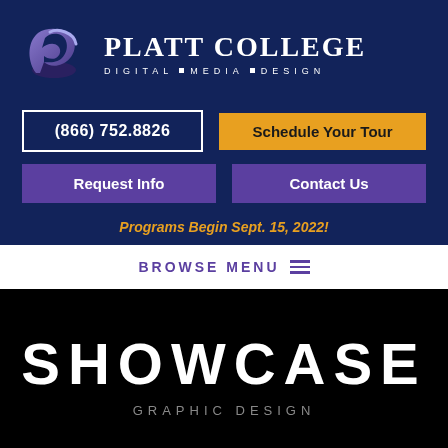[Figure (logo): Platt College logo with stylized P icon and text PLATT COLLEGE DIGITAL MEDIA DESIGN]
(866) 752.8826
Schedule Your Tour
Request Info
Contact Us
Programs Begin Sept. 15, 2022!
BROWSE MENU
SHOWCASE
GRAPHIC DESIGN